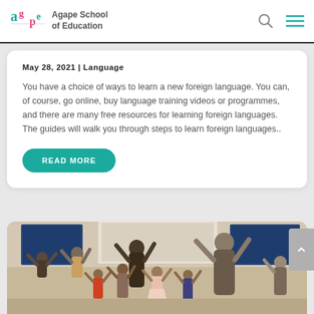Agape School of Education
May 28, 2021 | Language
You have a choice of ways to learn a new foreign language. You can, of course, go online, buy language training videos or programmes, and there are many free resources for learning foreign languages. The guides will walk you through steps to learn foreign languages..
READ MORE
[Figure (photo): Children and adults in a large room with hands raised above their heads, appearing to dance or do an activity together. Two large screens are visible in the background.]